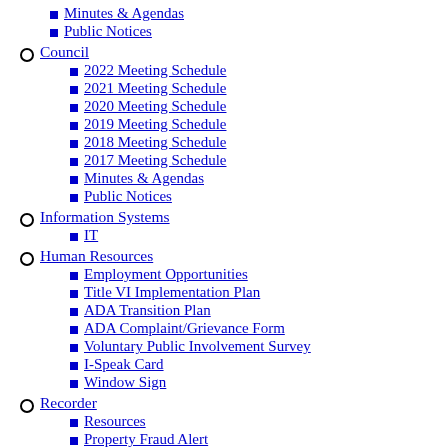Minutes & Agendas
Public Notices
Council
2022 Meeting Schedule
2021 Meeting Schedule
2020 Meeting Schedule
2019 Meeting Schedule
2018 Meeting Schedule
2017 Meeting Schedule
Minutes & Agendas
Public Notices
Information Systems
IT
Human Resources
Employment Opportunities
Title VI Implementation Plan
ADA Transition Plan
ADA Complaint/Grievance Form
Voluntary Public Involvement Survey
I-Speak Card
Window Sign
Recorder
Resources
Property Fraud Alert
Online Records Search